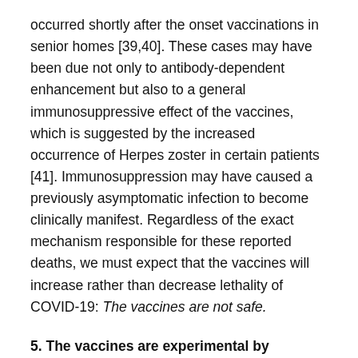occurred shortly after the onset vaccinations in senior homes [39,40]. These cases may have been due not only to antibody-dependent enhancement but also to a general immunosuppressive effect of the vaccines, which is suggested by the increased occurrence of Herpes zoster in certain patients [41]. Immunosuppression may have caused a previously asymptomatic infection to become clinically manifest. Regardless of the exact mechanism responsible for these reported deaths, we must expect that the vaccines will increase rather than decrease lethality of COVID-19: The vaccines are not safe.
5. The vaccines are experimental by definition. They will remain in Phase 3 trials until 2023. Recipients are human subjects entitled to free informed consent under Nuremberg and other protections, including the Parliamentary Assembly of the Council of Europe's resolution 2361 [42] and the FDA's